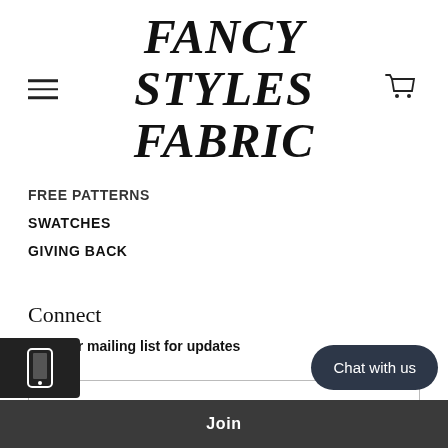FANCY STYLES FABRIC
FREE PATTERNS
SWATCHES
GIVING BACK
Connect
Join our mailing list for updates
Email Address
Chat with us
Join